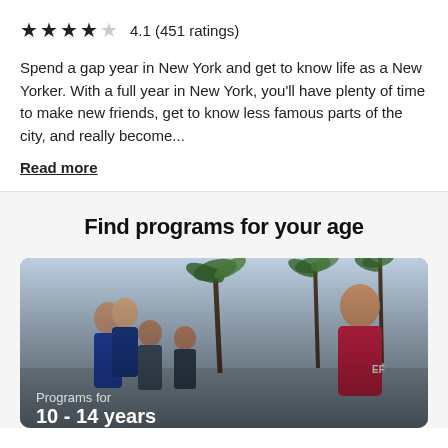★★★★☆ 4.1 (451 ratings)
Spend a gap year in New York and get to know life as a New Yorker. With a full year in New York, you'll have plenty of time to make new friends, get to know less famous parts of the city, and really become...
Read more
Find programs for your age
[Figure (photo): Group of young people and an adult woman in a red EF polo shirt standing outdoors with palm trees in the background. Text overlay reads 'Programs for 10 - 14 years'.]